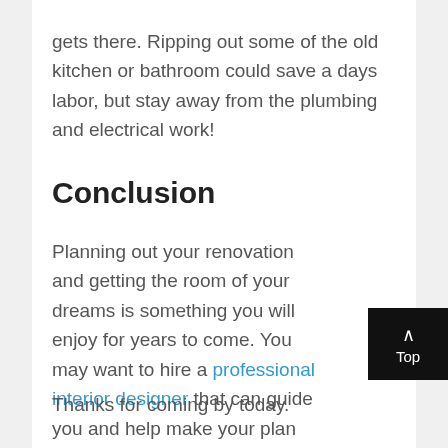gets there. Ripping out some of the old kitchen or bathroom could save a days labor, but stay away from the plumbing and electrical work!
Conclusion
Planning out your renovation and getting the room of your dreams is something you will enjoy for years to come. You may want to hire a professional interior designer that can guide you and help make your plan come together.
Thanks for coming by today.